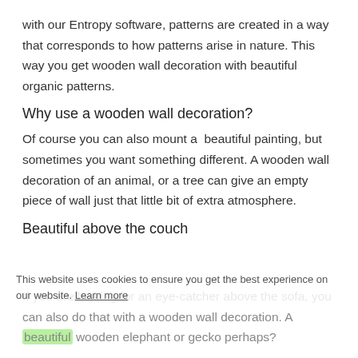with our Entropy software, patterns are created in a way that corresponds to how patterns arise in nature. This way you get wooden wall decoration with beautiful organic patterns.
Why use a wooden wall decoration?
Of course you can also mount a beautiful painting, but sometimes you want something different. A wooden wall decoration of an animal, or a tree can give an empty piece of wall just that little bit of extra atmosphere.
Beautiful above the couch
If you are looking for an eye-catcher above the sofa, you can also do that with a wooden wall decoration. A beautiful wooden elephant or gecko perhaps?
This website uses cookies to ensure you get the best experience on our website. Learn more